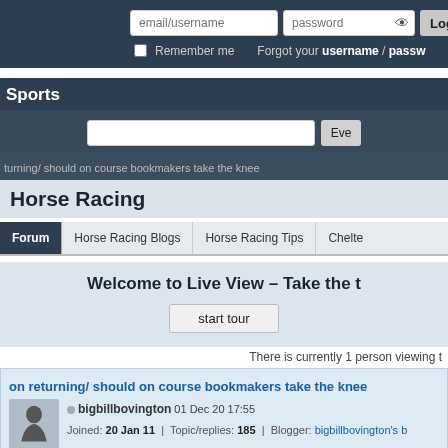email/username | password | Log I | Remember me | Forgot your username / passw
Sports
Eve
turning/ should on course bookmakers take the knee
Horse Racing
Forum | Horse Racing Blogs | Horse Racing Tips | Chelte
Welcome to Live View – Take the t
start tour
There is currently 1 person viewing t
on returning/ should on course bookmakers take the knee
bigbillbovington 01 Dec 20 17:55 Joined: 20 Jan 11 | Topic/replies: 185 | Blogger: bigbillbovington's b